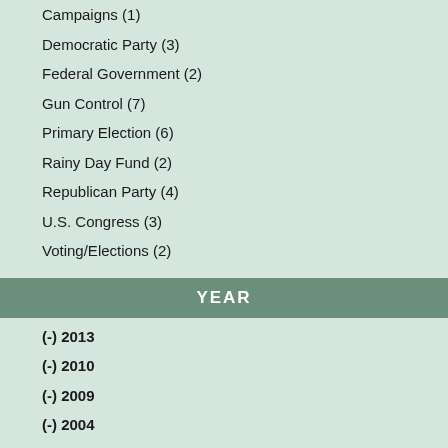Campaigns (1)
Democratic Party (3)
Federal Government (2)
Gun Control (7)
Primary Election (6)
Rainy Day Fund (2)
Republican Party (4)
U.S. Congress (3)
Voting/Elections (2)
YEAR
(-) 2013
(-) 2010
(-) 2009
(-) 2004
(-) 1992
(-) 1973
2019 (2)
2018 (2)